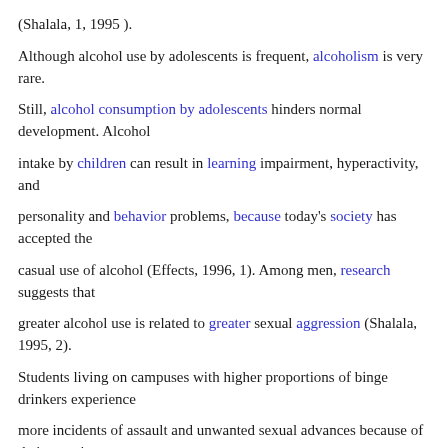(Shalala, 1, 1995 ).
Although alcohol use by adolescents is frequent, alcoholism is very rare.
Still, alcohol consumption by adolescents hinders normal development. Alcohol
intake by children can result in learning impairment, hyperactivity, and
personality and behavior problems, because today's society has accepted the
casual use of alcohol (Effects, 1996, 1). Among men, research suggests that
greater alcohol use is related to greater sexual aggression (Shalala, 1995, 2).
Students living on campuses with higher proportions of binge drinkers experience
more incidents of assault and unwanted sexual advances because of their peers'